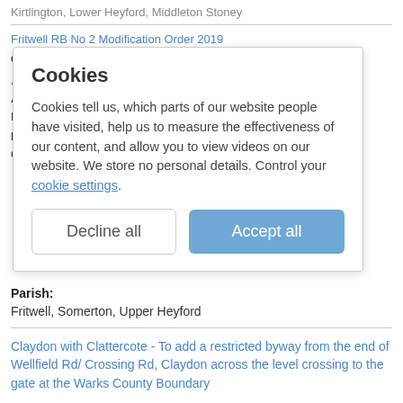Kirtlington, Lower Heyford, Middleton Stoney
Fritwell RB No 2 Modification Order 2019
Our reference:
02011
Applicant name(s):
Mr C Blomfield
Postcode(s):
OX25 6NN
Cookies
Cookies tell us, which parts of our website people have visited, help us to measure the effectiveness of our content, and allow you to view videos on our website. We store no personal details. Control your cookie Settings.
Decline all
Accept all
Parish:
Fritwell, Somerton, Upper Heyford
Claydon with Clattercote - To add a restricted byway from the end of Wellfield Rd/ Crossing Rd, Claydon across the level crossing to the gate at the Warks County Boundary
Our reference: